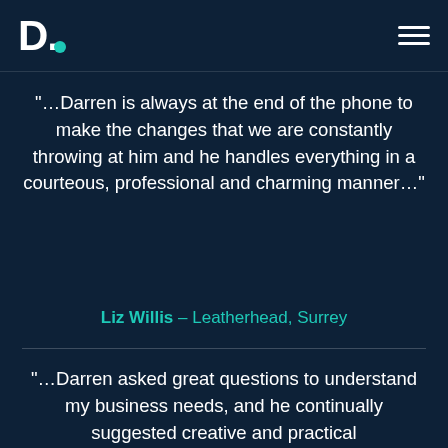D. [logo with teal dot] [hamburger menu]
“…Darren is always at the end of the phone to make the changes that we are constantly throwing at him and he handles everything in a courteous, professional and charming manner…”
Liz Willis – Leatherhead, Surrey
“…Darren asked great questions to understand my business needs, and he continually suggested creative and practical